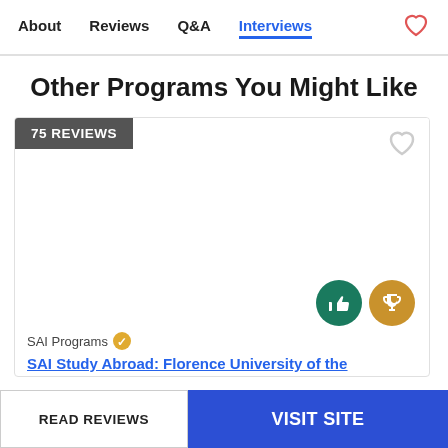About   Reviews   Q&A   Interviews
Other Programs You Might Like
[Figure (screenshot): Program card showing '75 REVIEWS' badge, heart icon, thumbs-up and trophy action buttons, SAI Programs provider name with gold badge icon, and partial blue link text 'SAI Study Abroad: Florence University of the']
SAI Programs
SAI Study Abroad: Florence University of the